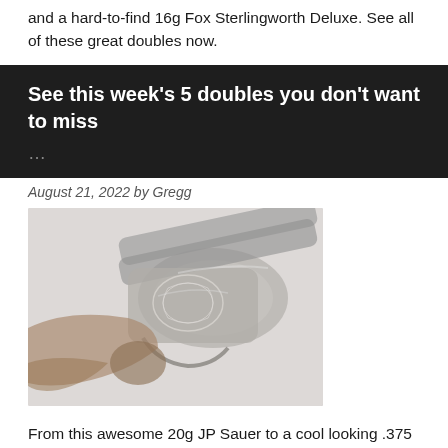and a hard-to-find 16g Fox Sterlingworth Deluxe. See all of these great doubles now.
See this week's 5 doubles you don't want to miss ...
August 21, 2022 by Gregg
[Figure (photo): Close-up photograph of an engraved double-barrel shotgun action/receiver showing detailed scrollwork engraving and wooden stock]
From this awesome 20g JP Sauer to a cool looking .375 H&H double rifle and SxS sidelock Joseph Lang that looks like it could be a good deal. See all these great doubles